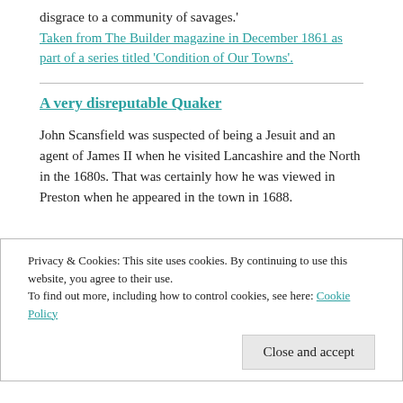disgrace to a community of savages.'
Taken from The Builder magazine in December 1861 as part of a series titled 'Condition of Our Towns'.
A very disreputable Quaker
John Scansfield was suspected of being a Jesuit and an agent of James II when he visited Lancashire and the North in the 1680s. That was certainly how he was viewed in Preston when he appeared in the town in 1688.
Privacy & Cookies: This site uses cookies. By continuing to use this website, you agree to their use.
To find out more, including how to control cookies, see here: Cookie Policy
Close and accept